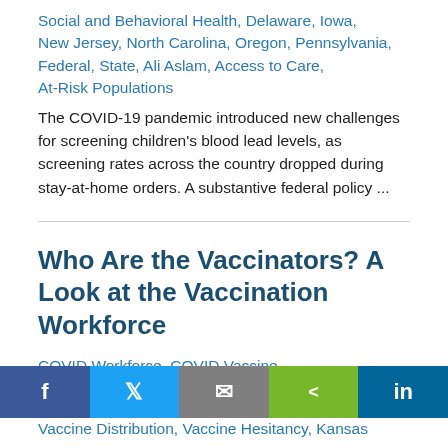Social and Behavioral Health, Delaware, Iowa, New Jersey, North Carolina, Oregon, Pennsylvania, Federal, State, Ali Aslam, Access to Care, At-Risk Populations
The COVID-19 pandemic introduced new challenges for screening children's blood lead levels, as screening rates across the country dropped during stay-at-home orders. A substantive federal policy ...
Who Are the Vaccinators? A Look at the Vaccination Workforce
COVID Workforce, COVID Vaccine, Health Policy Update,
Vaccine Distribution, Vaccine Hesitancy, Kansas